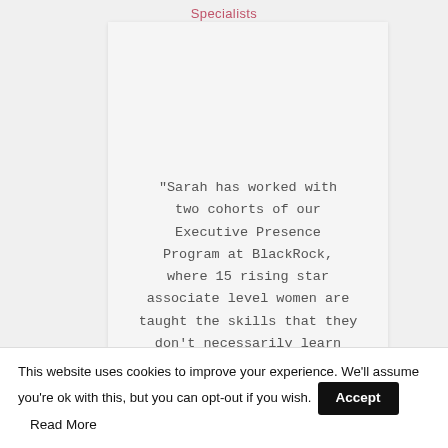Specialists
"Sarah has worked with two cohorts of our Executive Presence Program at BlackRock, where 15 rising star associate level women are taught the skills that they don't necessarily learn through their day job. Both years we have included Sarah in the first session to
This website uses cookies to improve your experience. We'll assume you're ok with this, but you can opt-out if you wish.
Accept
Read More